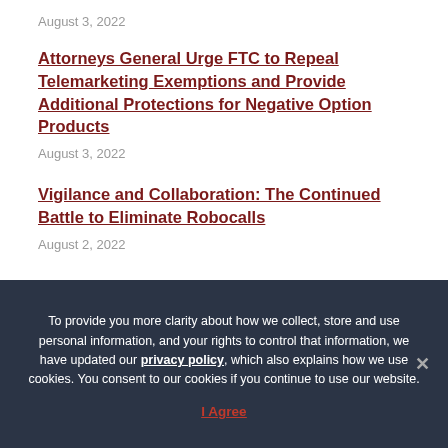August 3, 2022
Attorneys General Urge FTC to Repeal Telemarketing Exemptions and Provide Additional Protections for Negative Option Products
August 3, 2022
Vigilance and Collaboration: The Continued Battle to Eliminate Robocalls
August 2, 2022
To provide you more clarity about how we collect, store and use personal information, and your rights to control that information, we have updated our privacy policy, which also explains how we use cookies. You consent to our cookies if you continue to use our website.
I Agree